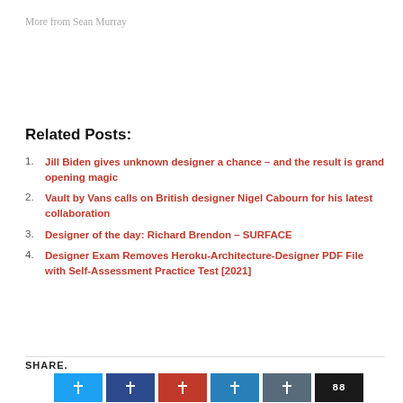More from Sean Murray
Related Posts:
Jill Biden gives unknown designer a chance – and the result is grand opening magic
Vault by Vans calls on British designer Nigel Cabourn for his latest collaboration
Designer of the day: Richard Brendon – SURFACE
Designer Exam Removes Heroku-Architecture-Designer PDF File with Self-Assessment Practice Test [2021]
SHARE.